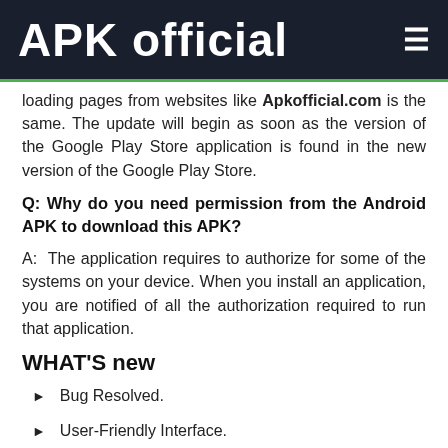APK Official
loading pages from websites like Apkofficial.com is the same. The update will begin as soon as the version of the Google Play Store application is found in the new version of the Google Play Store.
Q: Why do you need permission from the Android APK to download this APK?
A:  The application requires to authorize for some of the systems on your device. When you install an application, you are notified of all the authorization required to run that application.
WHAT'S new
Bug Resolved.
User-Friendly Interface.
Speed Boosted.